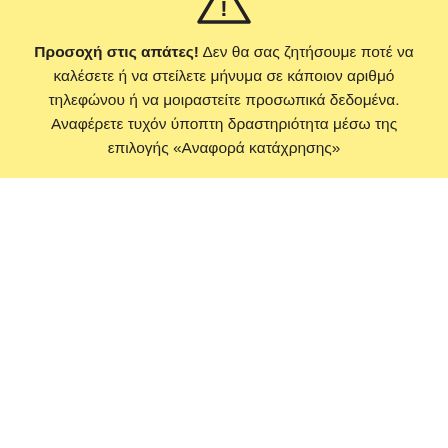Support mozilla://a
< Firefox
Εργαλεία ερώτησης ∨
Προσοχή στις απάτες! Δεν θα σας ζητήσουμε ποτέ να καλέσετε ή να στείλετε μήνυμα σε κάποιον αριθμό τηλεφώνου ή να μοιραστείτε προσωπικά δεδομένα. Αναφέρετε τυχόν ύποπτη δραστηριότητα μέσω της επιλογής «Αναφορά κατάχρησης»